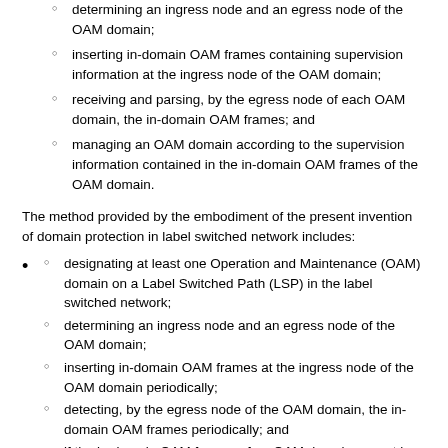determining an ingress node and an egress node of the OAM domain;
inserting in-domain OAM frames containing supervision information at the ingress node of the OAM domain;
receiving and parsing, by the egress node of each OAM domain, the in-domain OAM frames; and
managing an OAM domain according to the supervision information contained in the in-domain OAM frames of the OAM domain.
The method provided by the embodiment of the present invention of domain protection in label switched network includes:
designating at least one Operation and Maintenance (OAM) domain on a Label Switched Path (LSP) in the label switched network;
determining an ingress node and an egress node of the OAM domain;
inserting in-domain OAM frames at the ingress node of the OAM domain periodically;
detecting, by the egress node of the OAM domain, the in-domain OAM frames periodically; and
if the in-domain OAM frames of an OAM domain cannot be received periodically, determining that a ser vice connection in the